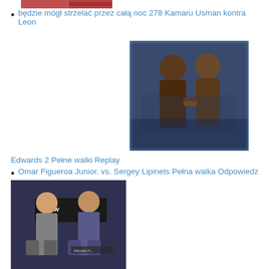[Figure (photo): Partial cropped photo of boxing/MMA scene at top left]
będzie mógł strzelać przez całą noc 278 Kamaru Usman kontra Leon
[Figure (photo): Photo of two fighters facing off, UFC/MMA staredown]
Edwards 2 Pełne walki Replay
Omar Figueroa Junior. vs. Sergey Lipinets Pełna walka Odpowiedz
[Figure (photo): Photo of two boxers posing at weigh-in with Showtime boxing backdrop]